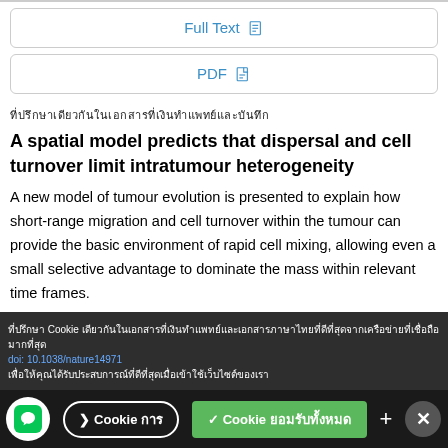[Figure (screenshot): Full Text button with document icon, blue text on white background with gray border]
[Figure (screenshot): PDF button with document icon, blue text on white background with gray border]
Thai characters (article metadata/navigation text)
A spatial model predicts that dispersal and cell turnover limit intratumour heterogeneity
A new model of tumour evolution is presented to explain how short-range migration and cell turnover within the tumour can provide the basic environment of rapid cell mixing, allowing even a small selective advantage to dominate the mass within relevant time frames.
Cookie overlay with Thai text and doi: 10.1038/nature14971
[Figure (screenshot): Cookie consent bar with LINE button, Cookie consent button, Accept Cookie button (green), plus button, and close button]